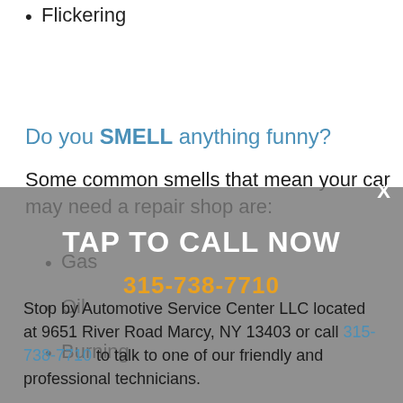Flickering
Do you SMELL anything funny?
Some common smells that mean your car may need a repair shop are:
Gas
Oil
Burning
TAP TO CALL NOW
315-738-7710
Stop by Automotive Service Center LLC located at 9651 River Road Marcy, NY 13403 or call 315-738-7710 to talk to one of our friendly and professional technicians.